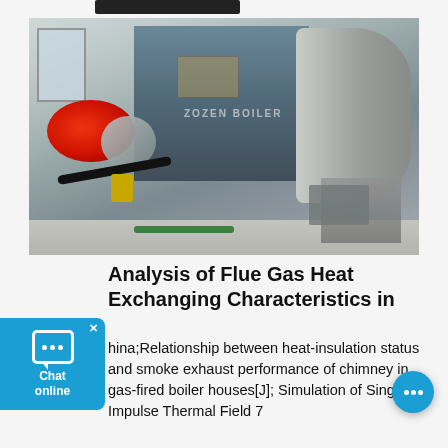[Figure (photo): Industrial gas-fired boiler with red burner unit attached to left side, large cylindrical drum on right, yellow pipe fittings and black cables visible, manufactured by ZOZEN BOILER]
Analysis of Flue Gas Heat Exchanging Characteristics in
hina;Relationship between heat-insulation status and smoke exhaust performance of chimney in gas-fired boiler houses[J]; Simulation of Single Impulse Thermal Field 7